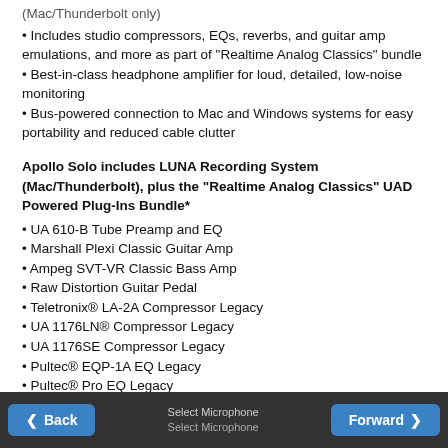(Mac/Thunderbolt only)
Includes studio compressors, EQs, reverbs, and guitar amp emulations, and more as part of "Realtime Analog Classics" bundle
Best-in-class headphone amplifier for loud, detailed, low-noise monitoring
Bus-powered connection to Mac and Windows systems for easy portability and reduced cable clutter
Apollo Solo includes LUNA Recording System (Mac/Thunderbolt), plus the "Realtime Analog Classics" UAD Powered Plug-Ins Bundle*
UA 610-B Tube Preamp and EQ
Marshall Plexi Classic Guitar Amp
Ampeg SVT-VR Classic Bass Amp
Raw Distortion Guitar Pedal
Teletronix® LA-2A Compressor Legacy
UA 1176LN® Compressor Legacy
UA 1176SE Compressor Legacy
Pultec® EQP-1A EQ Legacy
Pultec® Pro EQ Legacy
Back   [center text]   Forward